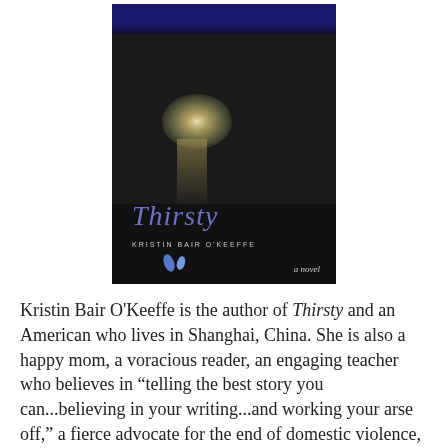[Figure (photo): Book cover of 'Thirsty' by Kristin Bair O'Keeffe — a novel. The cover shows a dark, moody nighttime scene with a bright light source and its reflection on water. The title 'Thirsty' appears in blue-purple italic script, the author name in small uppercase letters, blue water drops, and 'a novel' in small italic text at the bottom right. The top of the cover shows dark blue textured shapes.]
Kristin Bair O'Keeffe is the author of Thirsty and an American who lives in Shanghai, China. She is also a happy mom, a voracious reader, an engaging teacher who believes in “telling the best story you can...believing in your writing...and working your arse off,” a fierce advocate for the end of domestic violence, and a writer who spends as much time as possible in